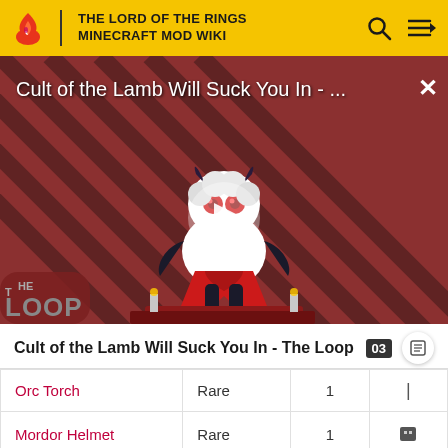THE LORD OF THE RINGS MINECRAFT MOD WIKI
[Figure (screenshot): Video thumbnail for 'Cult of the Lamb Will Suck You In - The Loop' showing a cartoon lamb character on a red diagonal-striped background with THE LOOP logo and a play button in the center]
Cult of the Lamb Will Suck You In - The Loop
| Item | Rarity | Qty | Icon |
| --- | --- | --- | --- |
| Orc Torch | Rare | 1 | | |
| Mordor Helmet | Rare | 1 |  |
| Mordor Chestplate | Rare | 1 |  |